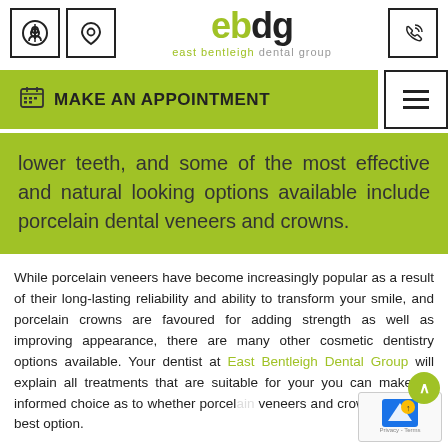[Figure (logo): East Bentleigh Dental Group logo with navigation icons]
MAKE AN APPOINTMENT
lower teeth, and some of the most effective and natural looking options available include porcelain dental veneers and crowns.
While porcelain veneers have become increasingly popular as a result of their long-lasting reliability and ability to transform your smile, and porcelain crowns are favoured for adding strength as well as improving appearance, there are many other cosmetic dentistry options available. Your dentist at East Bentleigh Dental Group will explain all treatments that are suitable for your you can make an informed choice as to whether porcelain veneers and crowns are your best option.